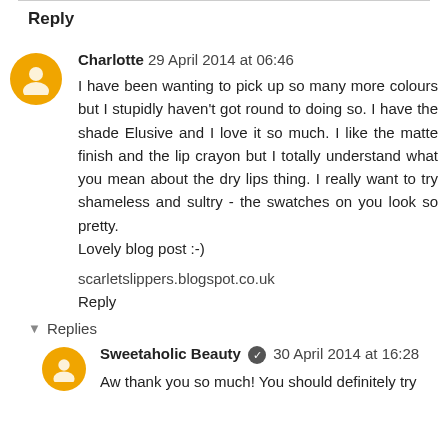Reply
Charlotte 29 April 2014 at 06:46
I have been wanting to pick up so many more colours but I stupidly haven't got round to doing so. I have the shade Elusive and I love it so much. I like the matte finish and the lip crayon but I totally understand what you mean about the dry lips thing. I really want to try shameless and sultry - the swatches on you look so pretty.
Lovely blog post :-)
scarletslippers.blogspot.co.uk
Reply
Replies
Sweetaholic Beauty 30 April 2014 at 16:28
Aw thank you so much! You should definitely try